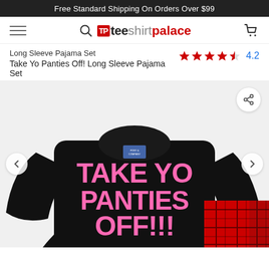Free Standard Shipping On Orders Over $99
[Figure (logo): Tee Shirt Palace logo with hamburger menu, search icon, and cart icon navigation bar]
Long Sleeve Pajama Set
Take Yo Panties Off! Long Sleeve Pajama Set
[Figure (other): Star rating: 4.2 out of 5 stars]
[Figure (photo): Black long sleeve pajama top with pink bold text reading TAKE YO PANTIES OFF!!! and red plaid pajama pants visible on right side. Navigation arrows on left and right, share button top right.]